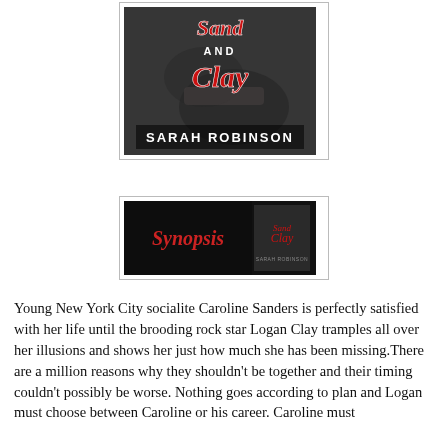[Figure (illustration): Book cover for 'Sand and Clay' by Sarah Robinson — black and white photo of a person playing guitar with red and white script title text and author name in white block letters]
[Figure (illustration): Synopsis banner image — black background with red script 'Synopsis' text on the left and a small thumbnail of the Sand and Clay book cover on the right]
Young New York City socialite Caroline Sanders is perfectly satisfied with her life until the brooding rock star Logan Clay tramples all over her illusions and shows her just how much she has been missing.There are a million reasons why they shouldn't be together and their timing couldn't possibly be worse. Nothing goes according to plan and Logan must choose between Caroline or his career. Caroline must